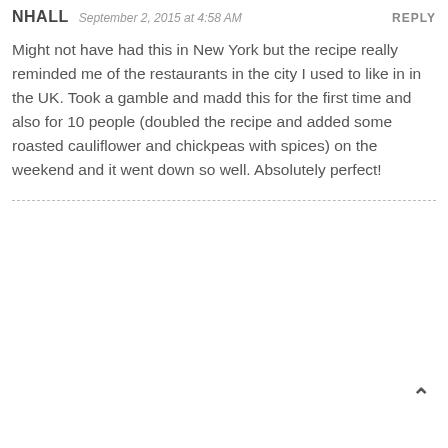NHALL  September 2, 2015 at 4:58 AM  REPLY
Might not have had this in New York but the recipe really reminded me of the restaurants in the city I used to like in in the UK. Took a gamble and madd this for the first time and also for 10 people (doubled the recipe and added some roasted cauliflower and chickpeas with spices) on the weekend and it went down so well. Absolutely perfect!